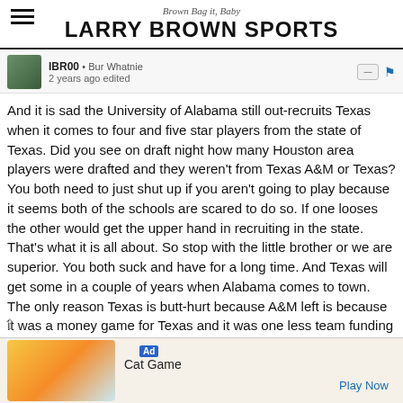Brown Bag it, Baby — LARRY BROWN SPORTS
IBR00 • Bur Whatnie
2 years ago edited
And it is sad the University of Alabama still out-recruits Texas when it comes to four and five star players from the state of Texas. Did you see on draft night how many Houston area players were drafted and they weren't from Texas A&M or Texas? You both need to just shut up if you aren't going to play because it seems both of the schools are scared to do so. If one looses the other would get the upper hand in recruiting in the state. That's what it is all about. So stop with the little brother or we are superior. You both suck and have for a long time. And Texas will get some in a couple of years when Alabama comes to town. The only reason Texas is butt-hurt because A&M left is because it was a money game for Texas and it was one less team funding the pathetic Longhorn Network. At least A&M plays in a conference that caters to the entire conference of 14 teams and not one or two. What has Texas done since 2005? Nothing.
[Figure (screenshot): Ad banner for Cat Game mobile app with cartoon cat characters and Play Now button]